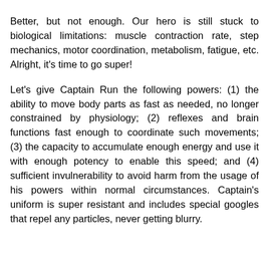animated series.
Better, but not enough. Our hero is still stuck to biological limitations: muscle contraction rate, step mechanics, motor coordination, metabolism, fatigue, etc. Alright, it's time to go super!
Let's give Captain Run the following powers: (1) the ability to move body parts as fast as needed, no longer constrained by physiology; (2) reflexes and brain functions fast enough to coordinate such movements; (3) the capacity to accumulate enough energy and use it with enough potency to enable this speed; and (4) sufficient invulnerability to avoid harm from the usage of his powers within normal circumstances. Captain's uniform is super resistant and includes special googles that repel any particles, never getting blurry.